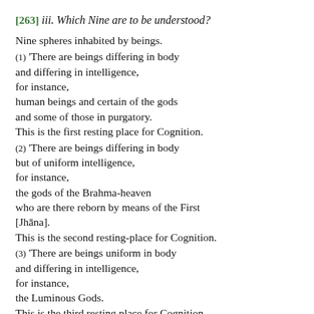[263] iii. Which Nine are to be understood?
Nine spheres inhabited by beings.
(1) 'There are beings differing in body and differing in intelligence, for instance, human beings and certain of the gods and some of those in purgatory. This is the first resting place for Cognition.
(2) 'There are beings differing in body but of uniform intelligence, for instance, the gods of the Brahma-heaven who are there reborn by means of the First [Jhāna]. This is the second resting-place for Cognition.
(3) 'There are beings uniform in body and differing in intelligence, for instance, the Luminous Gods. This is the third resting place for Cognition.